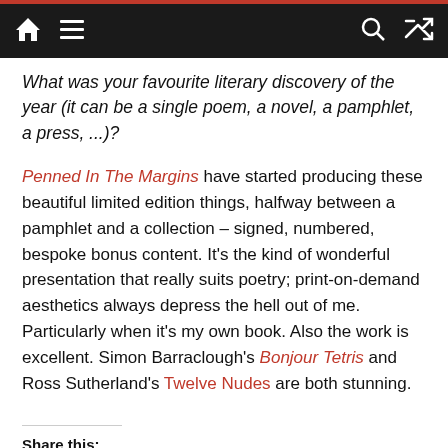Nav bar with home, menu, search, shuffle icons
What was your favourite literary discovery of the year (it can be a single poem, a novel, a pamphlet, a press, ...)?
Penned In The Margins have started producing these beautiful limited edition things, halfway between a pamphlet and a collection – signed, numbered, bespoke bonus content. It's the kind of wonderful presentation that really suits poetry; print-on-demand aesthetics always depress the hell out of me. Particularly when it's my own book. Also the work is excellent. Simon Barraclough's Bonjour Tetris and Ross Sutherland's Twelve Nudes are both stunning.
Share this: